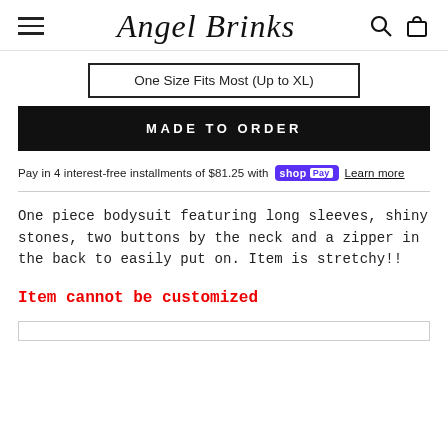Angel Brinks
One Size Fits Most (Up to XL)
MADE TO ORDER
Pay in 4 interest-free installments of $81.25 with Shop Pay Learn more
One piece bodysuit featuring long sleeves, shiny stones, two buttons by the neck and a zipper in the back to easily put on. Item is stretchy!!
Item cannot be customized